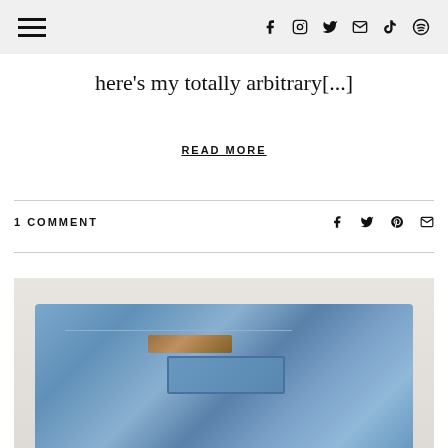Navigation menu and social icons (Facebook, Instagram, Twitter, Email, TikTok, Spotify)
here's my totally arbitrary[...]
READ MORE
1 COMMENT
[Figure (photo): Close-up photo of folded blue denim jeans with a brown leather patch, showing back pocket detail, laid on a white surface]